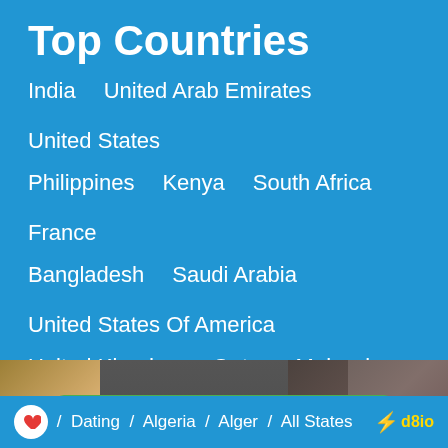Top Countries
India   United Arab Emirates   United States
Philippines   Kenya   South Africa   France
Bangladesh   Saudi Arabia   United States Of America
United Kingdom   Qatar   Malaysia   Egypt
Netherlands   Nepal
[Figure (photo): Background photo showing a shirtless male torso on the left and a woman holding a tea cup on the right with a green Signup Now! button overlay]
Signup Now!
/ Dating / Algeria / Alger / All States   ⚡ d8io